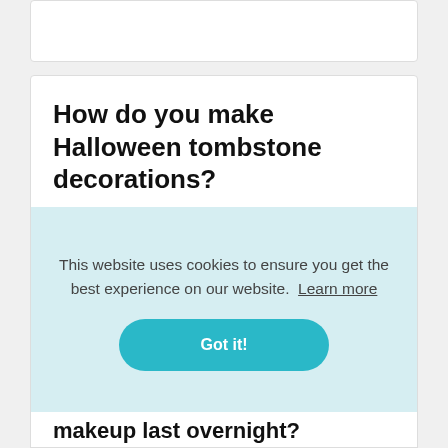How do you make Halloween tombstone decorations?
[Figure (screenshot): Twitter and Blogger social share icons]
المقطع المقترح · 73 ثانية How to Make Halloween Tombstones - YouTube YouTube بداية المقطع المقترح نهاية المقطع المقترح
This website uses cookies to ensure you get the best experience on our website. Learn more
Got it!
makeup last overnight?